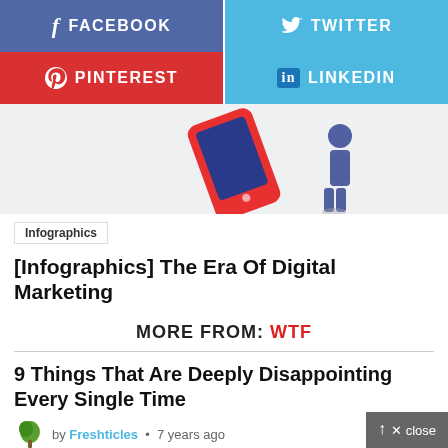[Figure (infographic): Social share buttons: Facebook (blue-purple), Twitter (light blue), Pinterest (red), LinkedIn (light blue)]
[Figure (illustration): Partial illustration showing a red smartphone and a person figure on a light grey background]
Infographics
[Infographics] The Era Of Digital Marketing
MORE FROM: WTF
9 Things That Are Deeply Disappointing Every Single Time
by Freshticles • 7 years ago